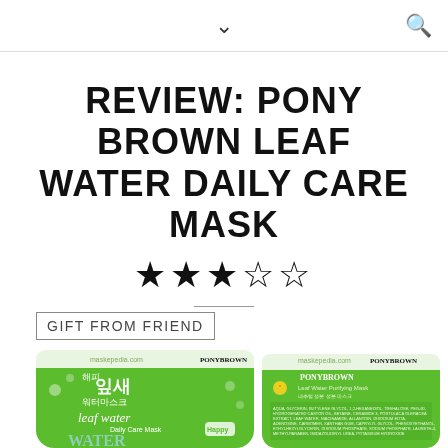v  🔍
REVIEW: PONY BROWN LEAF WATER DAILY CARE MASK
★★★☆☆
GIFT FROM FRIEND
[Figure (photo): Two green Pony Brown Leaf Water Daily Care Mask packets side by side — front and back views, with Korean text and leaf water branding]